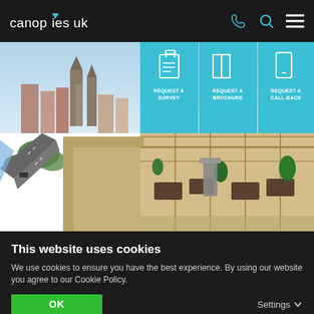canopies uk
[Figure (screenshot): Aerial view of a city (York, UK) with a rooftop canopy/pergola structure visible, alongside a road and historic buildings including a cathedral in the background. Three cyan CTA buttons overlaid top-right: REQUEST A SURVEY, REQUEST A BROCHURE, REQUEST A CALL-BACK.]
This website uses cookies
We use cookies to ensure you have the best experience. By using our website you agree to our Cookie Policy.
OK
Settings